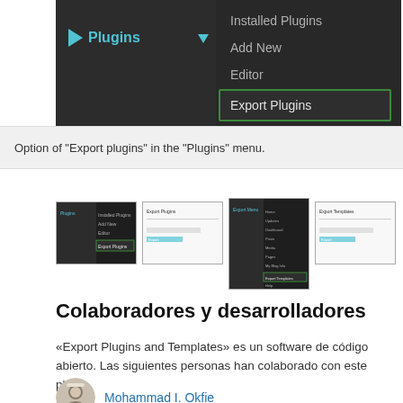[Figure (screenshot): WordPress admin menu screenshot showing Plugins menu expanded with options: Installed Plugins, Add New, Editor, and Export Plugins highlighted with a green border.]
Option of "Export plugins" in the "Plugins" menu.
[Figure (screenshot): Four thumbnail screenshots showing various WordPress admin plugin screens.]
Colaboradores y desarrolladores
«Export Plugins and Templates» es un software de código abierto. Las siguientes personas han colaborado con este plugin.
Mohammad I. Okfie